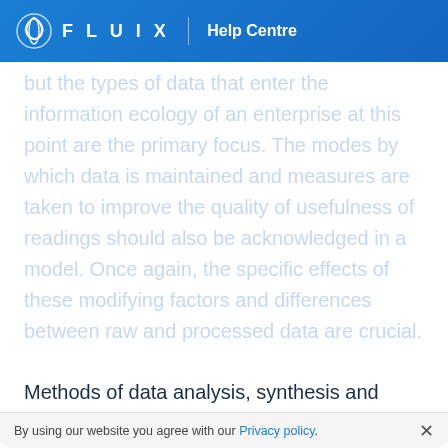FLUIX | Help Centre
but the types of data that enter the information ecology of an enterprise at this point are the primary focus. The modes by which data is maintained and measures are taken to improve the quality of usefulness of readings should also be acknowledged in a model. Once again, the specific effects of these modifying factors and differences between raw and processed data are crucial.
Methods of data analysis, synthesis and usage must also be acknowledged in an information life cycle model. A model should also account for the manner
By using our website you agree with our Privacy policy.